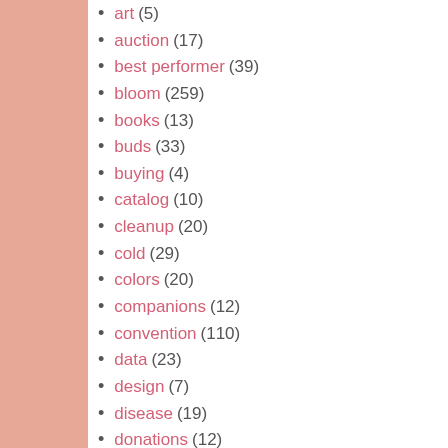art (5)
auction (17)
best performer (39)
bloom (259)
books (13)
buds (33)
buying (4)
catalog (10)
cleanup (20)
cold (29)
colors (20)
companions (12)
convention (110)
data (23)
design (7)
disease (19)
donations (12)
exhibiting (14)
experiments (22)